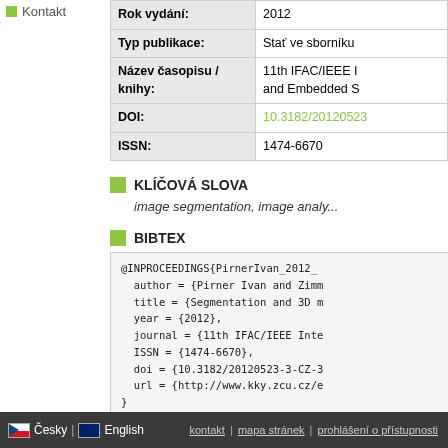Kontakt
| Field | Value |
| --- | --- |
| Rok vydání: | 2012 |
| Typ publikace: | Stať ve sborníku |
| Název časopisu / knihy: | 11th IFAC/IEEE I... and Embedded S... |
| DOI: | 10.3182/20120523-3-CZ-3... |
| ISSN: | 1474-6670 |
KLÍČOVÁ SLOVA
image segmentation, image analy...
BIBTEX
@INPROCEEDINGS{PirnerIvan_2012_...
  author = {Pirner Ivan and Zimm...
  title = {Segmentation and 3D m...
  year = {2012},
  journal = {11th IFAC/IEEE Inte...
  ISSN = {1474-6670},
  doi = {10.3182/20120523-3-CZ-3...
  url = {http://www.kky.zcu.cz/e...
}
Česky | English | kontakt | mapa stránek | prohlášení o přístupnosti